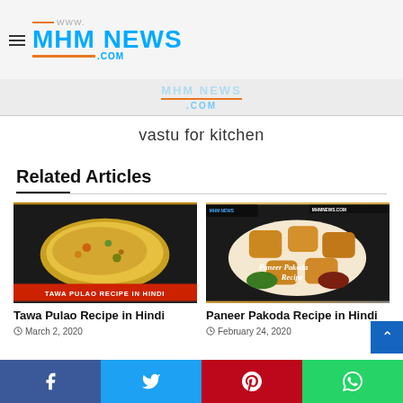WWW. MHM NEWS .COM
[Figure (logo): MHM News website logo with orange underlines and blue text]
[Figure (screenshot): Faded MHM NEWS .COM banner advertisement]
vastu for kitchen
Related Articles
[Figure (photo): Tawa Pulao dish photo with red banner text: TAWA PULAO RECIPE IN HINDI]
Tawa Pulao Recipe in Hindi
March 2, 2020
[Figure (photo): Paneer Pakoda recipe photo with cursive text overlay: Paneer Pakoda Recipe]
Paneer Pakoda Recipe in Hindi
February 24, 2020
Facebook | Twitter | Pinterest | WhatsApp social share bar